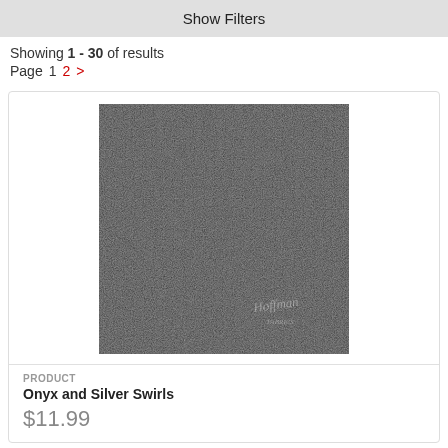Show Filters
Showing 1 - 30 of results
Page  1  2  >
[Figure (photo): Close-up photo of a dark fabric with onyx and silver swirls texture pattern, with a Hoffman watermark in the bottom right corner.]
PRODUCT
Onyx and Silver Swirls
$11.99